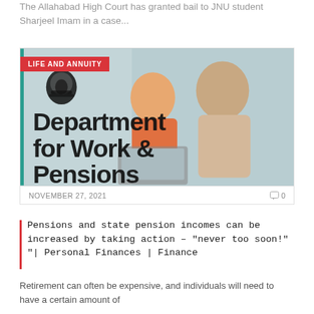The Allahabad High Court has granted bail to JNU student Sharjeel Imam in a case...
[Figure (photo): Image showing an older couple looking at a laptop together, overlaid with a UK government Department for Work & Pensions branding. A red badge reads 'LIFE AND ANNUITY'.]
NOVEMBER 27, 2021
Pensions and state pension incomes can be increased by taking action – "never too soon!" "| Personal Finances | Finance
Retirement can often be expensive, and individuals will need to have a certain amount of